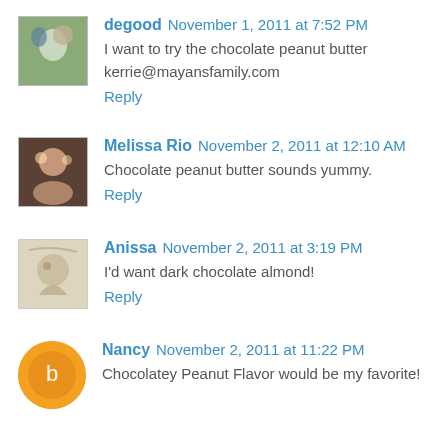degood  November 1, 2011 at 7:52 PM
I want to try the chocolate peanut butter
kerrie@mayansfamily.com
Reply
Melissa Rio  November 2, 2011 at 12:10 AM
Chocolate peanut butter sounds yummy.
Reply
Anissa  November 2, 2011 at 3:19 PM
I'd want dark chocolate almond!
Reply
Nancy  November 2, 2011 at 11:22 PM
Chocolatey Peanut Flavor would be my favorite!